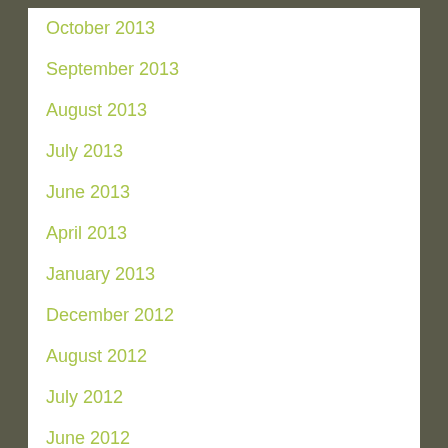October 2013
September 2013
August 2013
July 2013
June 2013
April 2013
January 2013
December 2012
August 2012
July 2012
June 2012
March 2012